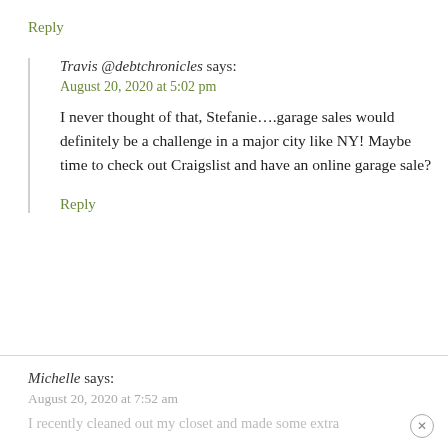Reply
Travis @debtchronicles says:
August 20, 2020 at 5:02 pm
I never thought of that, Stefanie....garage sales would definitely be a challenge in a major city like NY! Maybe time to check out Craigslist and have an online garage sale?
Reply
Michelle says:
August 20, 2020 at 7:52 am
I recently cleaned out my closet and made some extra